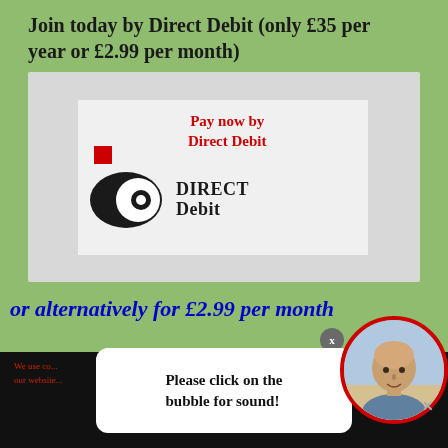Join today by Direct Debit (only £35 per year or £2.99 per month)
[Figure (logo): Direct Debit logo with 'Pay now by Direct Debit' text in red, showing the black and white Direct Debit oval logo with the text DIRECT Debit in bold]
or alternatively for £2.99 per month
Pay now by
Please click on the bubble for sound!
We use co... our website...
are happy with it.
Ok   Privacy policy